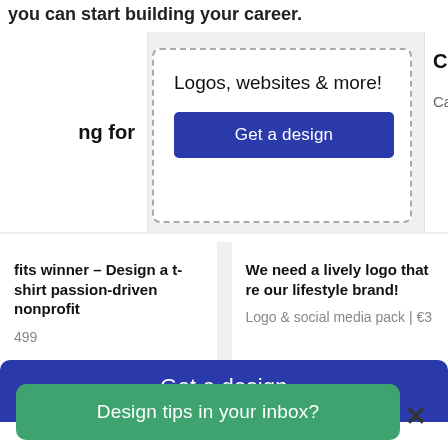you can start building your career.
ng for
Logos, websites & more!
Get a design
Coff
Car, t
fits winner - Design a t-shirt passion-driven nonprofit
499
We need a lively logo that re our lifestyle brand!
Logo & social media pack | €3
Get a design
Design tips in your inbox?